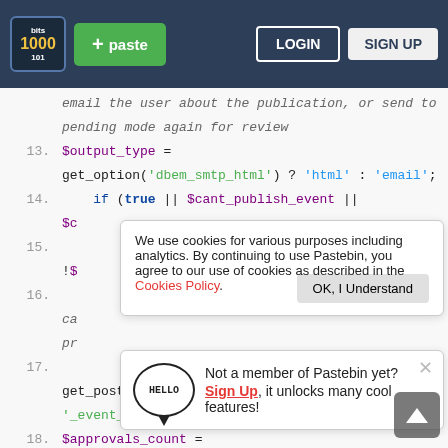Pastebin navigation bar with logo, paste button, login and sign up buttons
[Figure (screenshot): Pastebin website code viewer showing PHP code with line numbers 13-19, a cookies policy banner overlay, a sign-up prompt popup with HELLO speech bubble, and a scroll-to-top button]
email the user about the publication, or send to pending mode again for review
13.  $output_type = get_option('dbem_smtp_html') ? 'html' : 'email';
14.  if (true || $cant_publish_event ||
$c
!$
16.
ca
pr
17.
18.  get_post_meta($EM_Event->post_id, '_event_approvals_count', true);
$approvals_count = $approvals_count > 0 ? $approvals_count : 0;
We use cookies for various purposes including analytics. By continuing to use Pastebin, you agree to our use of cookies as described in the Cookies Policy. OK, I Understand
Not a member of Pastebin yet? Sign Up, it unlocks many cool features!